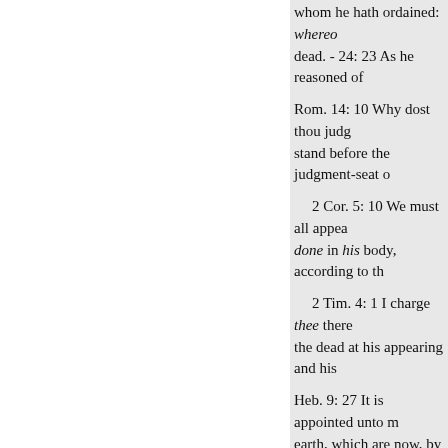whom he hath ordained: whereo... dead. - 24: 23 As he reasoned of
Rom. 14: 10 Why dost thou judg... stand before the judgment-seat o
2 Cor. 5: 10 We must all appea... done in his body, according to th
2 Tim. 4: 1 I charge thee there... the dead at his appearing and his
Heb. 9: 27 It is appointed unto m... earth, which are now, by
the same word are kept in store, ... men.
Jude 6 The angels which kept no... everlasting chains under darknes
Rev. 20: 12 I saw the dead, small... book was opened, which is the b... written in the books, according to... and hell delivered up the dead w... works.